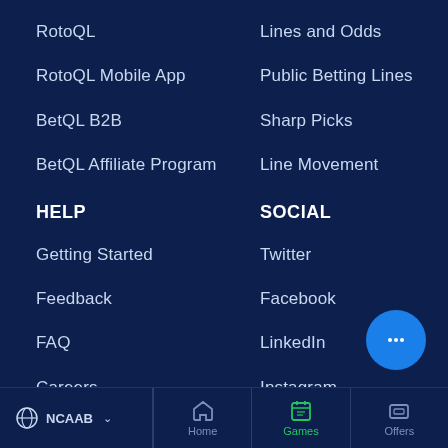RotoQL
RotoQL Mobile App
BetQL B2B
BetQL Affiliate Program
HELP
Getting Started
Feedback
FAQ
Careers
Contact
Lines and Odds
Public Betting Lines
Sharp Picks
Line Movement
SOCIAL
Twitter
Facebook
LinkedIn
Instagram
[Figure (illustration): Blue circular chat button with three dots]
NCAAB  Home  Games  Offers